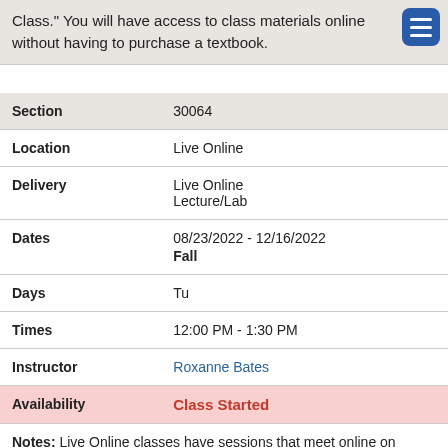Class." You will have access to class materials online without having to purchase a textbook.
| Field | Value |
| --- | --- |
| Section | 30064 |
| Location | Live Online |
| Delivery | Live Online
Lecture/Lab |
| Dates | 08/23/2022 - 12/16/2022
Fall |
| Days | Tu |
| Times | 12:00 PM - 1:30 PM |
| Instructor | Roxanne Bates |
| Availability | Class Started |
Notes: Live Online classes have sessions that meet online on specific days and times. Attendance in those sessions will be at